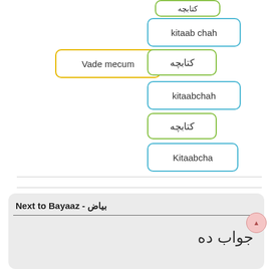[Figure (other): Flashcard matching diagram showing English word 'Vade mecum' connected to multiple Dari/Persian script labels and transliterations: kitaab chah, کتابچه, kitaabchah, کتابچه, Kitaabcha]
Next to Bayaaz - بیاض
جواب ده